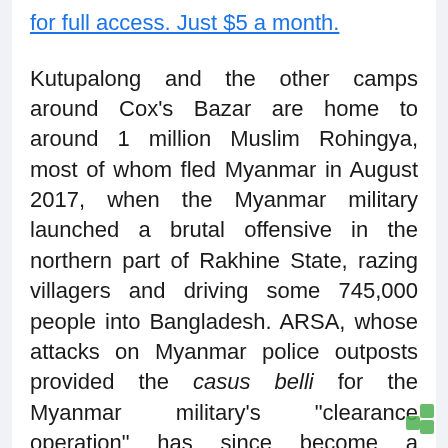for full access. Just $5 a month.
Kutupalong and the other camps around Cox’s Bazar are home to around 1 million Muslim Rohingya, most of whom fled Myanmar in August 2017, when the Myanmar military launched a brutal offensive in the northern part of Rakhine State, razing villagers and driving some 745,000 people into Bangladesh. ARSA, whose attacks on Myanmar police outposts provided the casus belli for the Myanmar military’s “clearance operation” has since become a dominant force in the loosely policed refugee camps around Cox’s Bazar, and is accused of running narcotics and murdering political opponents.
The police report merely confirms what many